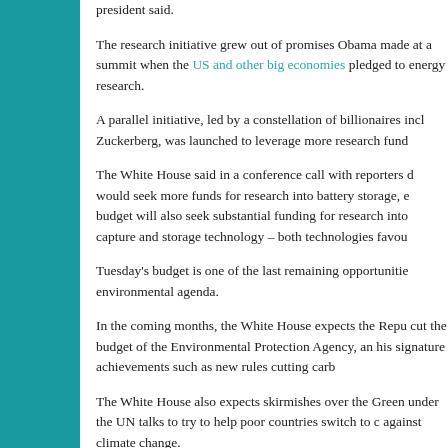president said.
The research initiative grew out of promises Obama made at a summit when the US and other big economies pledged to energy research.
A parallel initiative, led by a constellation of billionaires including Zuckerberg, was launched to leverage more research funds.
The White House said in a conference call with reporters that it would seek more funds for research into battery storage, and the budget will also seek substantial funding for research into capture and storage technology – both technologies favoured.
Tuesday's budget is one of the last remaining opportunities for his environmental agenda.
In the coming months, the White House expects the Republicans to cut the budget of the Environmental Protection Agency, and gut his signature achievements such as new rules cutting carb.
The White House also expects skirmishes over the Green under the UN talks to try to help poor countries switch to clean against climate change.